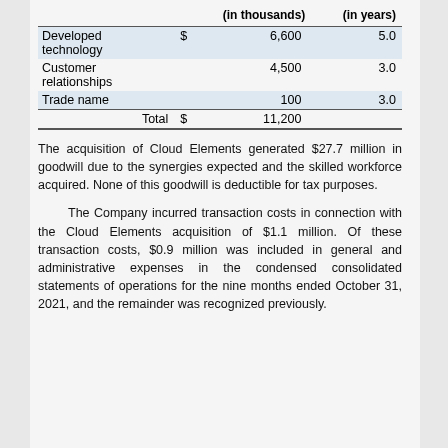|  | (in thousands) | (in years) |
| --- | --- | --- |
| Developed technology | $ 6,600 | 5.0 |
| Customer relationships | 4,500 | 3.0 |
| Trade name | 100 | 3.0 |
| Total | $ 11,200 |  |
The acquisition of Cloud Elements generated $27.7 million in goodwill due to the synergies expected and the skilled workforce acquired. None of this goodwill is deductible for tax purposes.
The Company incurred transaction costs in connection with the Cloud Elements acquisition of $1.1 million. Of these transaction costs, $0.9 million was included in general and administrative expenses in the condensed consolidated statements of operations for the nine months ended October 31, 2021, and the remainder was recognized previously.